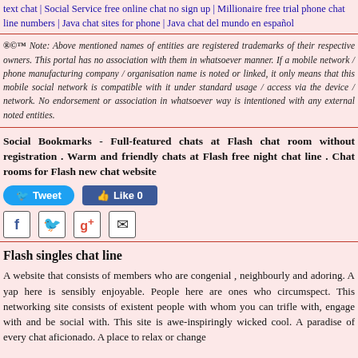text chat | Social Service free online chat no sign up | Millionaire free trial phone chat line numbers | Java chat sites for phone | Java chat del mundo en español
®©™ Note: Above mentioned names of entities are registered trademarks of their respective owners. This portal has no association with them in whatsoever manner. If a mobile network / phone manufacturing company / organisation name is noted or linked, it only means that this mobile social network is compatible with it under standard usage / access via the device / network. No endorsement or association in whatsoever way is intentioned with any external noted entities.
Social Bookmarks - Full-featured chats at Flash chat room without registration . Warm and friendly chats at Flash free night chat line . Chat rooms for Flash new chat website
[Figure (infographic): Social sharing buttons: Tweet button (blue, rounded), Like 0 button (Facebook blue), and row of social icons: Facebook, Twitter, Google+, Email/envelope]
Flash singles chat line
A website that consists of members who are congenial , neighbourly and adoring. A yap here is sensibly enjoyable. People here are ones who circumspect. This networking site consists of existent people with whom you can trifle with, engage with and be social with. This site is awe-inspiringly wicked cool. A paradise of every chat aficionado. A place to relax or change…